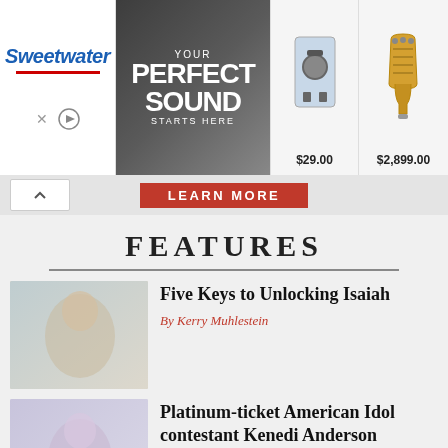[Figure (screenshot): Sweetwater music equipment advertisement banner showing 'YOUR PERFECT SOUND STARTS HERE' with audio products priced at $29.00 and $2,899.00]
LEARN MORE
FEATURES
[Figure (photo): Thumbnail image related to article about Isaiah]
Five Keys to Unlocking Isaiah
By Kerry Muhlestein
[Figure (photo): Thumbnail image related to American Idol contestant Kenedi Anderson]
Platinum-ticket American Idol contestant Kenedi Anderson records song for Church's youth album